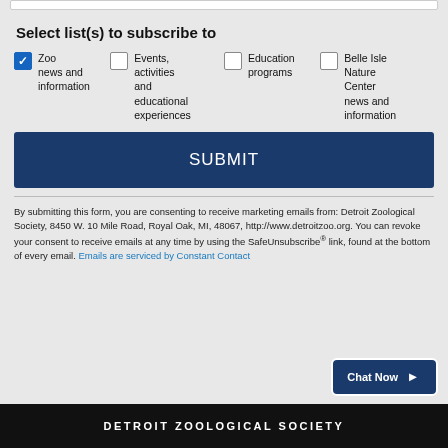Select list(s) to subscribe to
Zoo news and information
Events, activities and educational experiences
Education programs
Belle Isle Nature Center news and information
SUBMIT
By submitting this form, you are consenting to receive marketing emails from: Detroit Zoological Society, 8450 W. 10 Mile Road, Royal Oak, MI, 48067, http://www.detroitzoo.org. You can revoke your consent to receive emails at any time by using the SafeUnsubscribe® link, found at the bottom of every email. Emails are serviced by Constant Contact
DETROIT ZOOLOGICAL SOCIETY